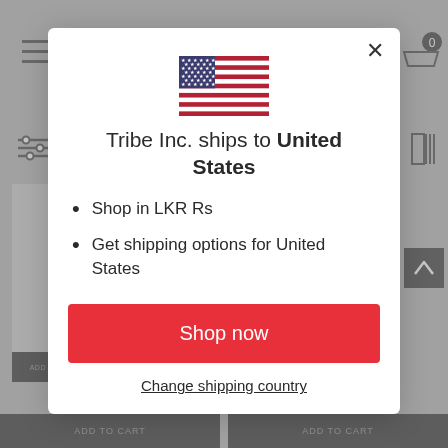[Figure (screenshot): Background of an e-commerce website with hamburger menu, filter icon, cart icon, grid icon, up-arrow button, product image thumbnail, and two ADD TO CART buttons at the bottom]
[Figure (illustration): United States flag SVG illustration]
Tribe Inc. ships to United States
Shop in LKR Rs
Get shipping options for United States
Shop now
Change shipping country